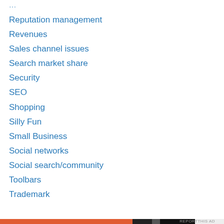Reputation management
Revenues
Sales channel issues
Search market share
Security
SEO
Shopping
Silly Fun
Small Business
Social networks
Social search/community
Toolbars
Trademark
Privacy & Cookies: This site uses cookies. By continuing to use this website, you agree to their use. To find out more, including how to control cookies, see here: Cookie Policy